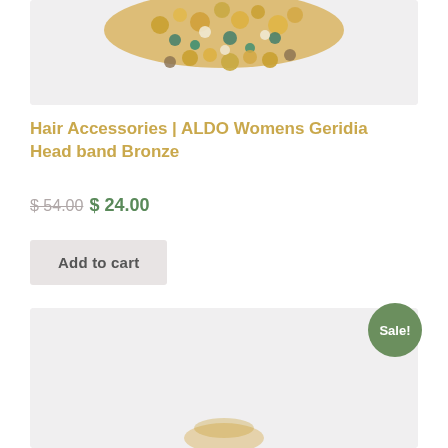[Figure (photo): Top portion of a beaded hair accessory headband with gold, teal, and brown beads on a light gray background, partially cropped at top]
Hair Accessories | ALDO Womens Geridia Head band Bronze
$ 54.00 $ 24.00
Add to cart
[Figure (photo): Bottom product image on light gray background with a 'Sale!' badge in green, showing the beginning of a second product image]